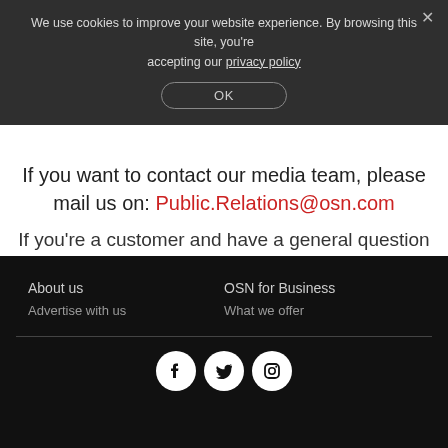We use cookies to improve your website experience. By browsing this site, you're accepting our privacy policy
OK
If you want to contact our media team, please mail us on: Public.Relations@osn.com
If you're a customer and have a general question about our services, please visit our Contact Us page.
About us
Advertise with us
OSN for Business
What we offer
[Figure (infographic): Social media icons: Facebook, Twitter, Instagram — white icons on black circular backgrounds within a white circle]